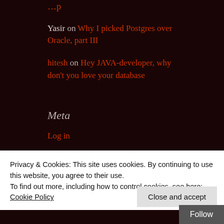Yasir on Why I picked Postgres over Oracle, part III
hitesh on Hey JAVA-developer, why don't you love your database
Meta
Log in
Entries feed
Comments feed
Privacy & Cookies: This site uses cookies. By continuing to use this website, you agree to their use. To find out more, including how to control cookies, see here: Cookie Policy
Close and accept
Follow